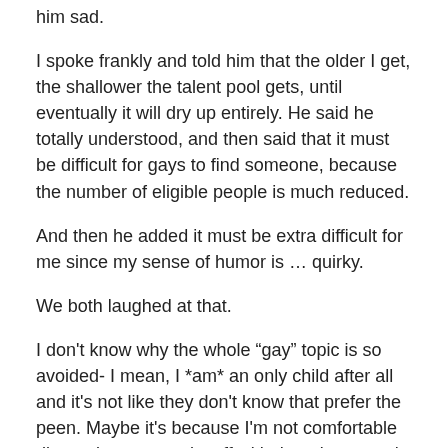him sad.
I spoke frankly and told him that the older I get, the shallower the talent pool gets, until eventually it will dry up entirely.  He said he totally understood, and then said that it must be difficult for gays to find someone, because the number of eligible people is much reduced.
And then he added it must be extra difficult for me since my sense of humor is … quirky.
We both laughed at that.
I don't know why the whole “gay” topic is so avoided- I mean, I *am* an only child after all and it's not like they don't know that prefer the peen.  Maybe it's because I'm not comfortable discussing personal stuff with them in general. But we really don't talk about the the homo thing